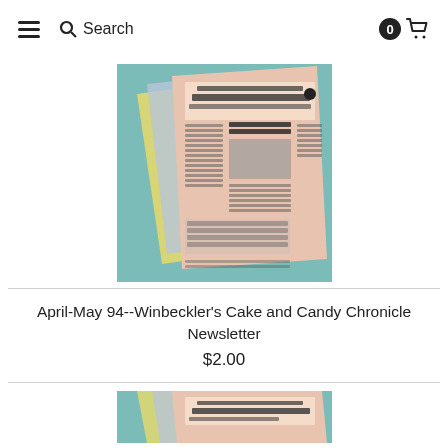☰  🔍 Search  0 🛒
[Figure (photo): Photo of Winbeckler's Cake and Candy Chronicle newsletter issues fanned out on a teal surface, showing a pink/salmon colored newsletter on top with the title 'Winbeckler's Cake and Candy Chronicle' and article text visible.]
April-May 94--Winbeckler's Cake and Candy Chronicle Newsletter
$2.00
[Figure (photo): Partial photo of another newsletter issue visible at the bottom of the page, similar to the one above.]